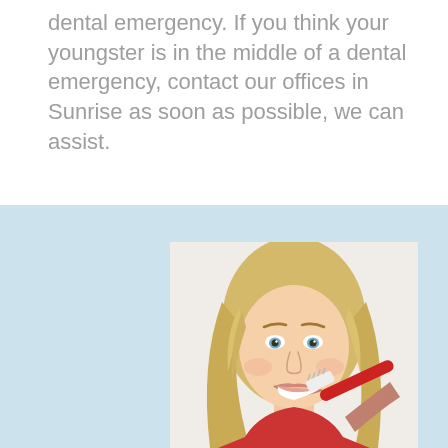dental emergency. If you think your youngster is in the middle of a dental emergency, contact our offices in Sunrise as soon as possible, we can assist.
[Figure (photo): Young blonde woman smiling and brushing her teeth with a red and white toothbrush, photographed against a white background. The image is set against a light blue background section.]